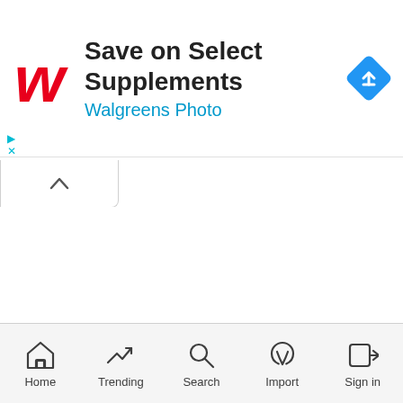[Figure (screenshot): Walgreens advertisement banner showing cursive W logo in red, title 'Save on Select Supplements', subtitle 'Walgreens Photo' in blue, and a blue diamond turn-right navigation icon]
[Figure (screenshot): A collapse/minimize tab button with an upward chevron caret icon]
Home  Trending  Search  Import  Sign in